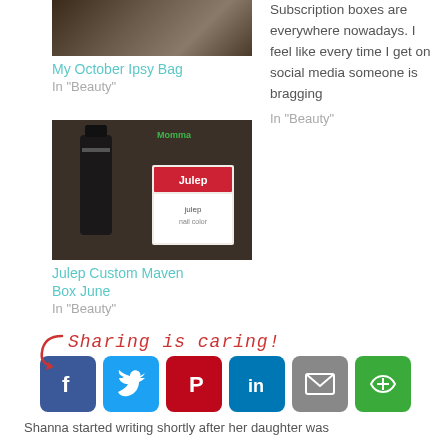[Figure (photo): Top-left photo of beauty/cosmetic items on a dark wooden surface]
My October Ipsy Bag
In "Beauty"
Subscription boxes are everywhere nowadays. I feel like every time I get on social media someone is bragging
In "Beauty"
[Figure (photo): Mid-left photo showing a Julep Custom Maven Box with cosmetic products]
Julep Custom Maven Box June
In "Beauty"
[Figure (infographic): Sharing is caring! section with social media share buttons for Facebook, Twitter, Pinterest, LinkedIn, Email, and More Options]
Shanna started writing shortly after her daughter was